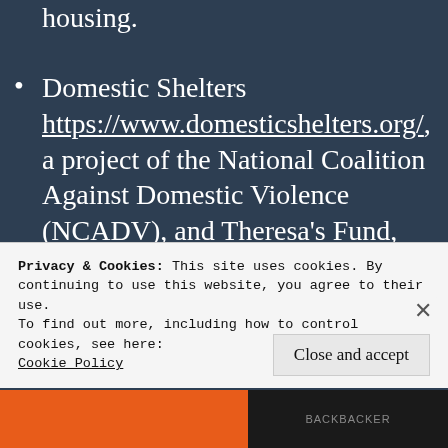housing.
Domestic Shelters https://www.domesticshelters.org/, a project of the National Coalition Against Domestic Violence (NCADV), and Theresa's Fund, provides abuse victims, their friends and family, and agencies, with the most comprehensive, searchable database
Privacy & Cookies: This site uses cookies. By continuing to use this website, you agree to their use.
To find out more, including how to control cookies, see here:
Cookie Policy
Close and accept